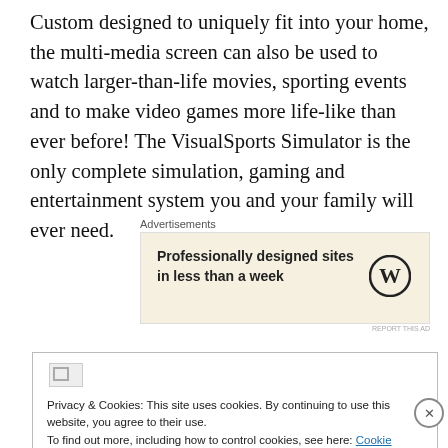Custom designed to uniquely fit into your home, the multi-media screen can also be used to watch larger-than-life movies, sporting events and to make video games more life-like than ever before! The VisualSports Simulator is the only complete simulation, gaming and entertainment system you and your family will ever need.
[Figure (other): WordPress advertisement banner: 'Professionally designed sites in less than a week' with WordPress logo, on a beige/tan background. Labeled 'Advertisements' above.]
[Figure (screenshot): Cookie consent banner with broken image icon, privacy notice text, Cookie Policy link, and 'Close and accept' button. A close (X) button appears at the right edge.]